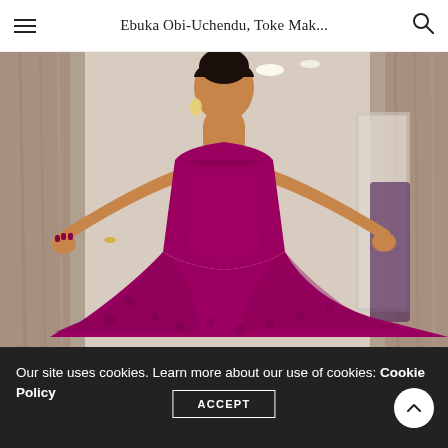Ebuka Obi-Uchendu, Toke Mak...
[Figure (photo): A woman in a striking magenta/fuchsia strapless ball gown with a sweetheart neckline and voluminous layered skirt, wearing a gold choker necklace and earrings, posing dramatically with arms spread apart holding grey curtains/drapes open, in an indoor setting with ceiling lights visible in the background.]
Our site uses cookies. Learn more about our use of cookies: Cookie Policy
ACCEPT